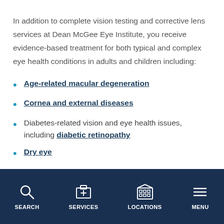In addition to complete vision testing and corrective lens services at Dean McGee Eye Institute, you receive evidence-based treatment for both typical and complex eye health conditions in adults and children including:
Age-related macular degeneration
Cornea and external diseases
Diabetes-related vision and eye health issues, including diabetic retinopathy
Dry eye
Eye cancers
Glaucoma
SEARCH  SERVICES  LOCATIONS  MENU